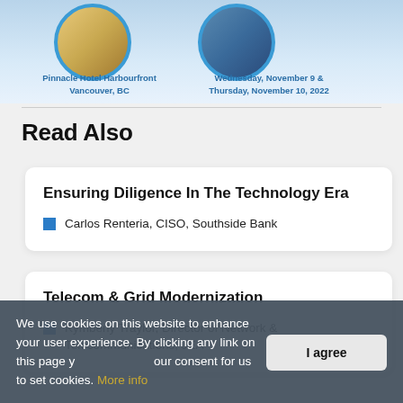[Figure (photo): Event banner with two circular city photos, Pinnacle Hotel Harbourfront Vancouver BC on the left and a city skyline on the right, with dates Wednesday November 9 and Thursday November 10 2022]
Read Also
Ensuring Diligence In The Technology Era
Carlos Renteria, CISO, Southside Bank
Telecom & Grid Modernization
Kymberly Traylor, Director of Network & Telecommunications, JEA
We use cookies on this website to enhance your user experience. By clicking any link on this page you are giving your consent for us to set cookies. More info